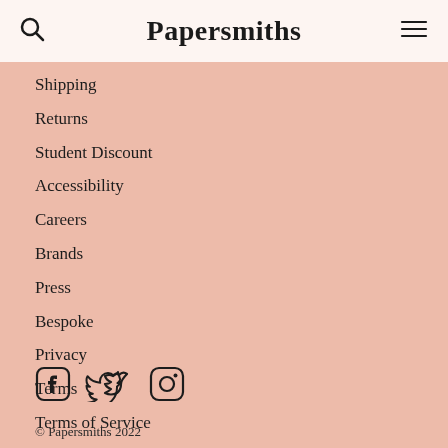Papersmiths
Shipping
Returns
Student Discount
Accessibility
Careers
Brands
Press
Bespoke
Privacy
Terms
Terms of Service
Refund policy
[Figure (illustration): Social media icons: Facebook, Twitter, Instagram]
© Papersmiths 2022